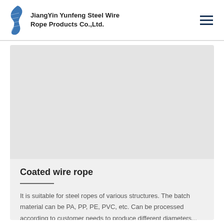JiangYin Yunfeng Steel Wire Rope Products Co.,Ltd.
[Figure (photo): Product image area for coated wire rope (image not visible in this crop — gray placeholder)]
Coated wire rope
It is suitable for steel ropes of various structures. The batch material can be PA, PP, PE, PVC, etc. Can be processed according to customer needs to produce different diameters...